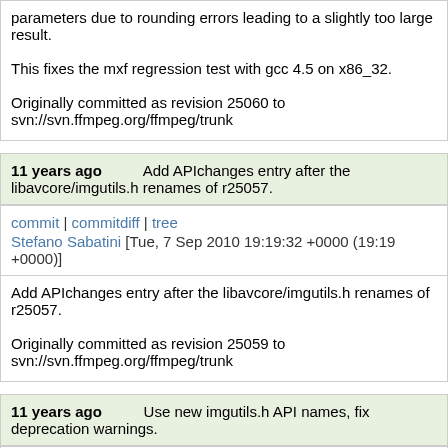parameters due to rounding errors leading to a slightly too large result.

This fixes the mxf regression test with gcc 4.5 on x86_32.

Originally committed as revision 25060 to svn://svn.ffmpeg.org/ffmpeg/trunk
11 years ago   Add APIchanges entry after the libavcore/imgutils.h renames of r25057.
commit | commitdiff | tree
Stefano Sabatini [Tue, 7 Sep 2010 19:19:32 +0000 (19:19 +0000)]
Add APIchanges entry after the libavcore/imgutils.h renames of r25057.

Originally committed as revision 25059 to svn://svn.ffmpeg.org/ffmpeg/trunk
11 years ago   Use new imgutils.h API names, fix deprecation warnings.
commit | commitdiff | tree
Stefano Sabatini [Tue, 7 Sep 2010 19:15:29 +0000 (19:15 +0000)]